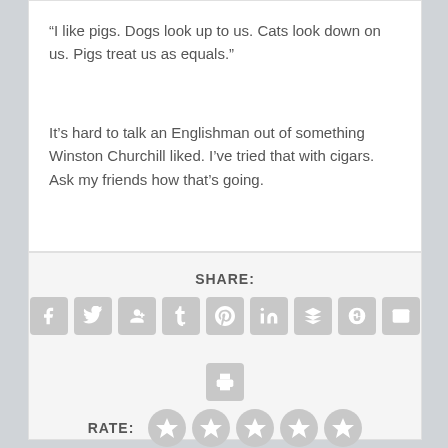“I like pigs. Dogs look up to us. Cats look down on us. Pigs treat us as equals.”
It’s hard to talk an Englishman out of something Winston Churchill liked. I’ve tried that with cigars. Ask my friends how that’s going.
SHARE:
[Figure (infographic): Row of 9 social media share icon buttons (Facebook, Twitter, Google+, Tumblr, Pinterest, LinkedIn, Buffer, StumbleUpon, Email) and one print button below, all grey rounded square icons]
RATE:
[Figure (infographic): 5 grey star rating icons in a row]